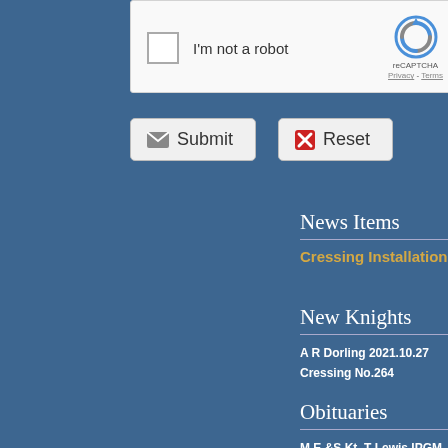[Figure (screenshot): reCAPTCHA widget showing checkbox 'I'm not a robot' with reCAPTCHA logo, Privacy and Terms links]
[Figure (screenshot): Submit button with envelope icon and Reset button with red X icon]
News Items
Cressing Installation
New Knights
A R Dorling 2021.10.27
Cressing No.264
Obituaries
M E &S Kt. T Lewis IPGM